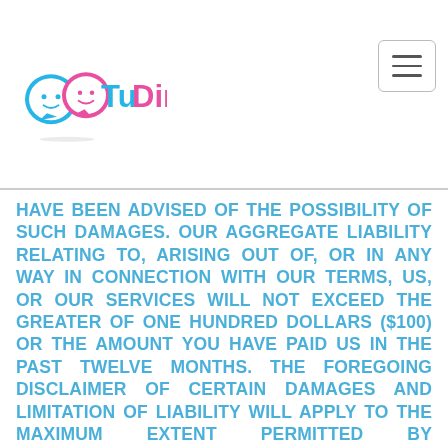TuDime Video With Features
[Figure (logo): TuDime logo with two chat bubble face icons in blue and pink, and text 'TuDime' in blue and pink]
HAVE BEEN ADVISED OF THE POSSIBILITY OF SUCH DAMAGES. OUR AGGREGATE LIABILITY RELATING TO, ARISING OUT OF, OR IN ANY WAY IN CONNECTION WITH OUR TERMS, US, OR OUR SERVICES WILL NOT EXCEED THE GREATER OF ONE HUNDRED DOLLARS ($100) OR THE AMOUNT YOU HAVE PAID US IN THE PAST TWELVE MONTHS. THE FOREGOING DISCLAIMER OF CERTAIN DAMAGES AND LIMITATION OF LIABILITY WILL APPLY TO THE MAXIMUM EXTENT PERMITTED BY APPLICABLE LAW. THE LAWS OF SOME STATES OR JURISDICTIONS MAY NOT ALLOW THE EXCLUSION OR LIMITATION OF CERTAIN DAMAGES, SO SOME OR ALL OF THE EXCLUSIONS AND LIMITATIONS